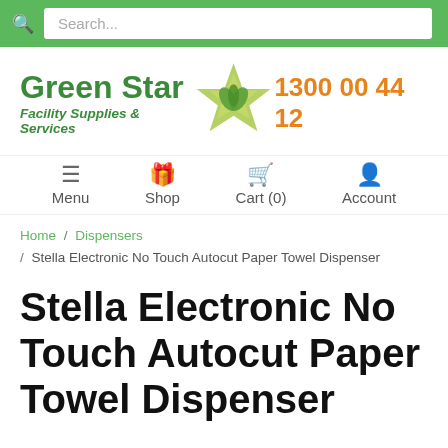Search...
[Figure (logo): Green Star Facility Supplies & Services logo with star icon and phone number 1300 00 44 12]
Menu  Shop  Cart (0)  Account
Home / Dispensers / Stella Electronic No Touch Autocut Paper Towel Dispenser
Stella Electronic No Touch Autocut Paper Towel Dispenser